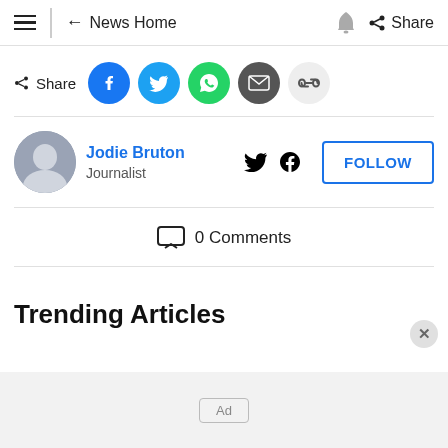≡ ← News Home | 🔔 Share
Share
Jodie Bruton — Journalist — FOLLOW
0 Comments
Trending Articles
Ad